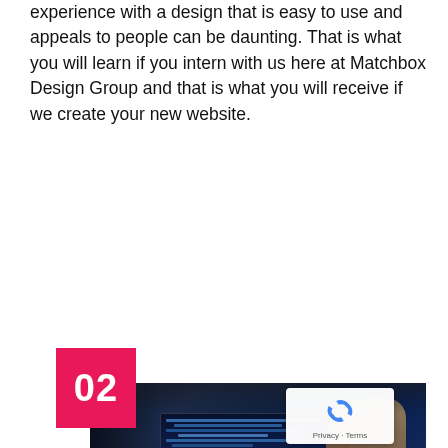experience with a design that is easy to use and appeals to people can be daunting. That is what you will learn if you intern with us here at Matchbox Design Group and that is what you will receive if we create your new website.
[Figure (photo): A pink/red square badge with '02' in bold white text overlaid on the top-left corner of a photo showing a person typing on a laptop with a blue-lit screen displaying code, wearing a smartwatch]